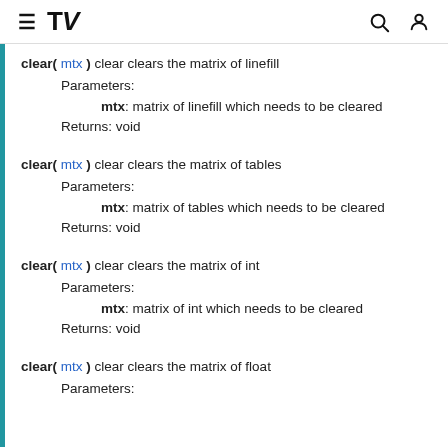TradingView documentation header
clear( mtx ) clear clears the matrix of linefill
Parameters:
  mtx: matrix of linefill which needs to be cleared
Returns: void
clear( mtx ) clear clears the matrix of tables
Parameters:
  mtx: matrix of tables which needs to be cleared
Returns: void
clear( mtx ) clear clears the matrix of int
Parameters:
  mtx: matrix of int which needs to be cleared
Returns: void
clear( mtx ) clear clears the matrix of float
Parameters: